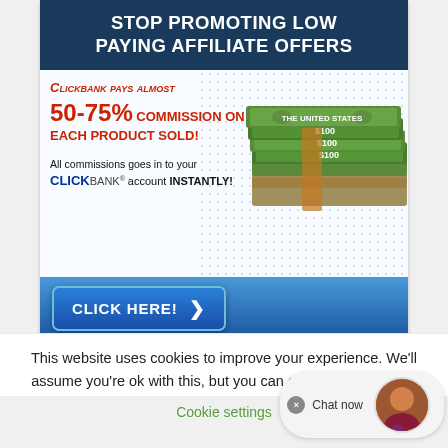[Figure (infographic): ClickBank affiliate marketing advertisement banner with dark blue header saying STOP PROMOTING LOW PAYING AFFILIATE OFFERS, red and black text about 50-75% commission, image of stacked money, blue CLICK HERE button, and dotted background pattern]
This website uses cookies to improve your experience. We'll assume you're ok with this, but you can opt-out if you wish.
Cookie settings
[Figure (infographic): Live chat widget with X close button, Chat now text, and female avatar icon]